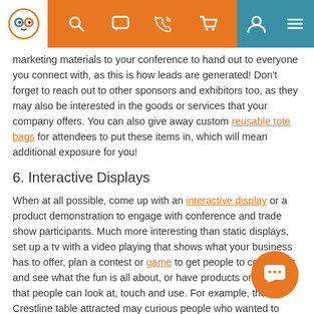[Figure (screenshot): Navigation bar with logo (owl icon), search, chat, phone, cart icons on orange background, and user/menu icons on teal background]
marketing materials to your conference to hand out to everyone you connect with, as this is how leads are generated! Don't forget to reach out to other sponsors and exhibitors too, as they may also be interested in the goods or services that your company offers. You can also give away custom reusable tote bags for attendees to put these items in, which will mean additional exposure for you!
6. Interactive Displays
When at all possible, come up with an interactive display or a product demonstration to engage with conference and trade show participants. Much more interesting than static displays, set up a tv with a video playing that shows what your business has to offer, plan a contest or game to get people to come over and see what the fun is all about, or have products on display that people can look at, touch and use. For example, the Crestline table attracted may curious people who wanted to know what PopSockets® are used for and how to use them.
For more information on planning a successful Trade Show Booth